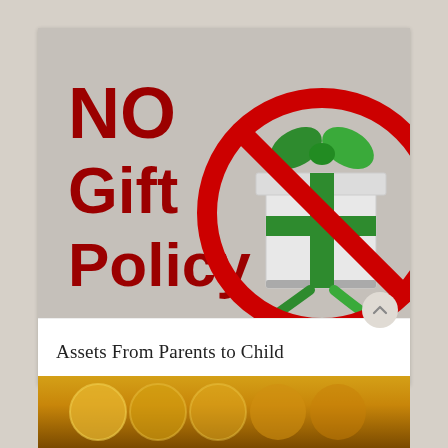[Figure (illustration): Illustration showing 'NO Gift Policy' text in bold dark red on a gray background, alongside a red prohibition circle-and-slash symbol over a white gift box with a green bow.]
Assets From Parents to Child
[Figure (photo): Partial photo at bottom of page showing gold/metallic objects, cropped.]